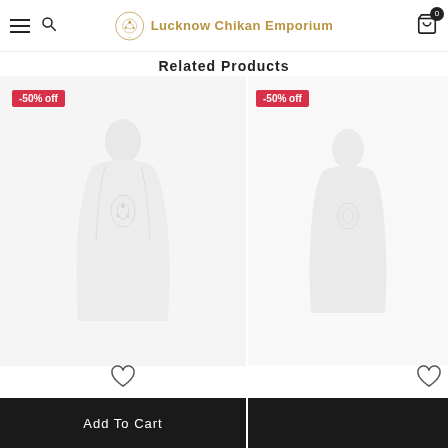Lucknow Chikan Emporium
Related Products
[Figure (photo): Product photo of white chikan embroidered garment with -50% off badge and heart/Add To Cart button]
[Figure (photo): Second product photo with -50% off badge and heart icon, partially visible]